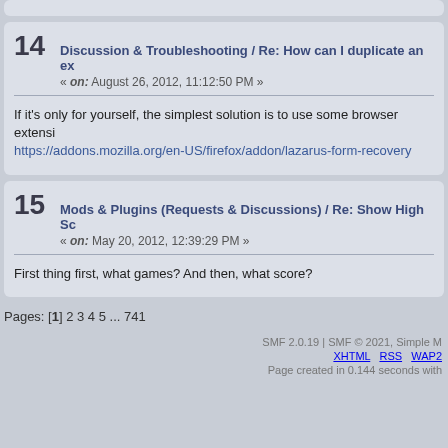14 Discussion & Troubleshooting / Re: How can I duplicate an ex... « on: August 26, 2012, 11:12:50 PM »
If it's only for yourself, the simplest solution is to use some browser extensi... https://addons.mozilla.org/en-US/firefox/addon/lazarus-form-recovery
15 Mods & Plugins (Requests & Discussions) / Re: Show High Sc... « on: May 20, 2012, 12:39:29 PM »
First thing first, what games? And then, what score?
Pages: [1] 2 3 4 5 ... 741
SMF 2.0.19 | SMF © 2021, Simple M... XHTML   RSS   WAP2 Page created in 0.144 seconds with